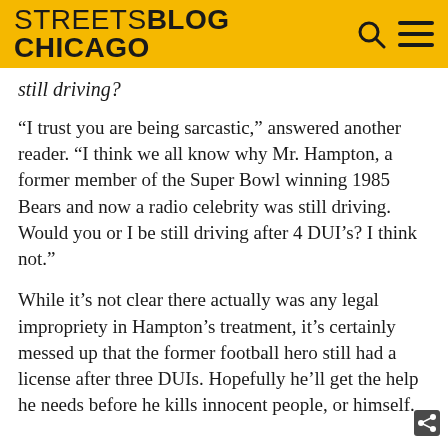STREETSBLOG CHICAGO
still driving?
“I trust you are being sarcastic,” answered another reader. “I think we all know why Mr. Hampton, a former member of the Super Bowl winning 1985 Bears and now a radio celebrity was still driving. Would you or I be still driving after 4 DUI’s? I think not.”
While it’s not clear there actually was any legal impropriety in Hampton’s treatment, it’s certainly messed up that the former football hero still had a license after three DUIs. Hopefully he’ll get the help he needs before he kills innocent people, or himself.